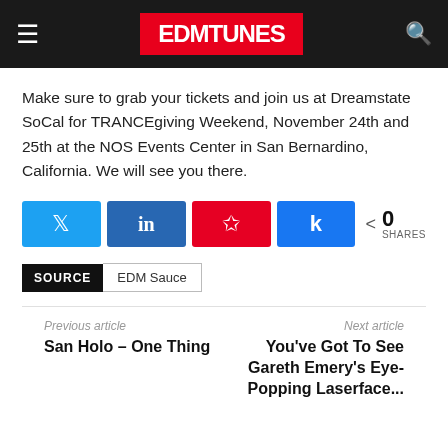EDMTunes
Make sure to grab your tickets and join us at Dreamstate SoCal for TRANCEgiving Weekend, November 24th and 25th at the NOS Events Center in San Bernardino, California. We will see you there.
Social share buttons: Twitter, LinkedIn, Pinterest, Facebook. 0 SHARES
SOURCE: EDM Sauce
Previous article: San Holo – One Thing
Next article: You've Got To See Gareth Emery's Eye-Popping Laserface...